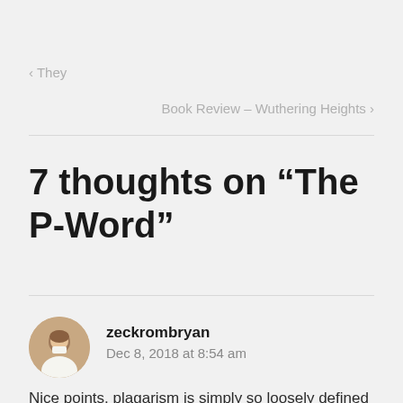< They
Book Review – Wuthering Heights >
7 thoughts on “The P-Word”
zeckrombryan
Dec 8, 2018 at 8:54 am
Nice points, plagarism is simply so loosely defined